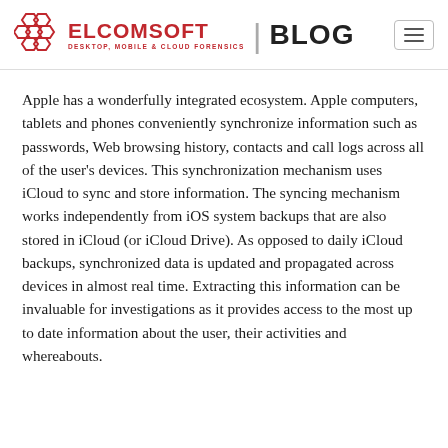ELCOMSOFT | BLOG — DESKTOP, MOBILE & CLOUD FORENSICS
Apple has a wonderfully integrated ecosystem. Apple computers, tablets and phones conveniently synchronize information such as passwords, Web browsing history, contacts and call logs across all of the user's devices. This synchronization mechanism uses iCloud to sync and store information. The syncing mechanism works independently from iOS system backups that are also stored in iCloud (or iCloud Drive). As opposed to daily iCloud backups, synchronized data is updated and propagated across devices in almost real time. Extracting this information can be invaluable for investigations as it provides access to the most up to date information about the user, their activities and whereabouts.